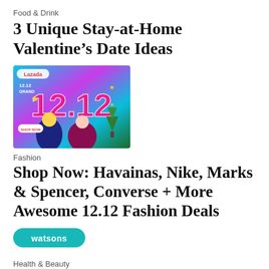Food & Drink
3 Unique Stay-at-Home Valentine’s Date Ideas
[Figure (photo): Lazada 12.12 Grand Sale promotional banner with colorful design showing two people and Christmas decorations]
Fashion
Shop Now: Havainas, Nike, Marks & Spencer, Converse + More Awesome 12.12 Fashion Deals
[Figure (logo): Watsons logo badge in teal/cyan rounded rectangle]
Health & Beauty
Watsons Most Loved Sale 2021
[Figure (photo): Partial thumbnail image at bottom of page showing colorful products]